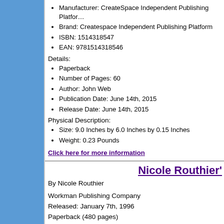Manufacturer: CreateSpace Independent Publishing Platform
Brand: Createspace Independent Publishing Platform
ISBN: 1514318547
EAN: 9781514318546
Details:
Paperback
Number of Pages: 60
Author: John Web
Publication Date: June 14th, 2015
Release Date: June 14th, 2015
Physical Description:
Size: 9.0 Inches by 6.0 Inches by 0.15 Inches
Weight: 0.23 Pounds
Click here for more information
Nicole Routhier's
By Nicole Routhier
Workman Publishing Company
Released: January 7th, 1996
Paperback (480 pages)
[Figure (photo): Book cover thumbnail image]